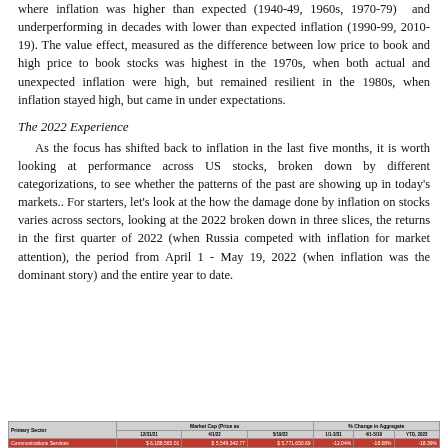where inflation was higher than expected (1940-49, 1960s, 1970-79) and underperforming in decades with lower than expected inflation (1990-99, 2010-19). The value effect, measured as the difference between low price to book and high price to book stocks was highest in the 1970s, when both actual and unexpected inflation were high, but remained resilient in the 1980s, when inflation stayed high, but came in under expectations.
The 2022 Experience
As the focus has shifted back to inflation in the last five months, it is worth looking at performance across US stocks, broken down by different categorizations, to see whether the patterns of the past are showing up in today's markets.. For starters, let's look at the how the damage done by inflation on stocks varies across sectors, looking at the 2022 broken down in three slices, the returns in the first quarter of 2022 (when Russia competed with inflation for market attention), the period from April 1 - May 19, 2022 (when inflation was the dominant story) and the entire year to date.
| Primary Sector | 12/31/21 | 4/1/22 | 5/19/22 | 1/1-3/31 | 4/1-5/19 | YTD, 2022 |
| --- | --- | --- | --- | --- | --- | --- |
| Communications Services | $ 6,188,565.01 | $ 5,549,342.77 | $ 5,771,650.69 | -12.04% | -18.08% | -18.39% |